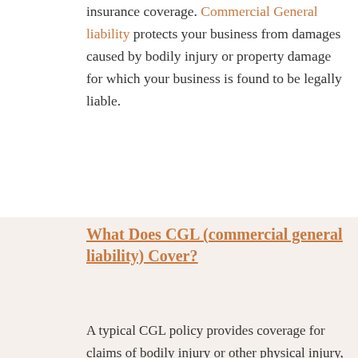insurance coverage. Commercial General liability protects your business from damages caused by bodily injury or property damage for which your business is found to be legally liable.
What Does CGL (commercial general liability) Cover?
A typical CGL policy provides coverage for claims of bodily injury or other physical injury, personal injury (libel or slander), advertising injury and property damage as a result of your products, premises or operations, and can be offered as a package policy with other coverages such as property, crime, automobile and more. As a safeguard against liability, CGL enables you to continue your normal operations while dealing with real or fraudulent claims of negligence or wrongdoing. CGL policies also provide coverage for the cost to defend and settle claims